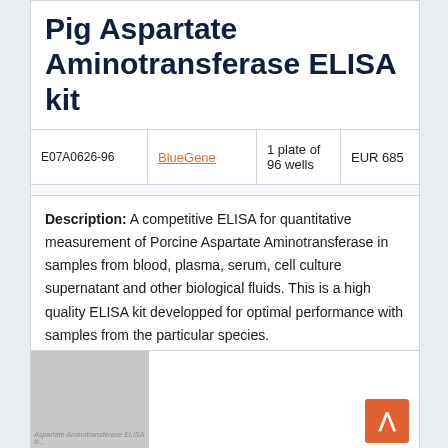Pig Aspartate Aminotransferase ELISA kit
|  |  |  |  |
| --- | --- | --- | --- |
| E07A0626-96 | BlueGene | 1 plate of 96 wells | EUR 685 |
Description: A competitive ELISA for quantitative measurement of Porcine Aspartate Aminotransferase in samples from blood, plasma, serum, cell culture supernatant and other biological fluids. This is a high quality ELISA kit developped for optimal performance with samples from the particular species.
[Figure (photo): Thumbnail image of the Pig Aspartate Aminotransferase ELISA kit product]